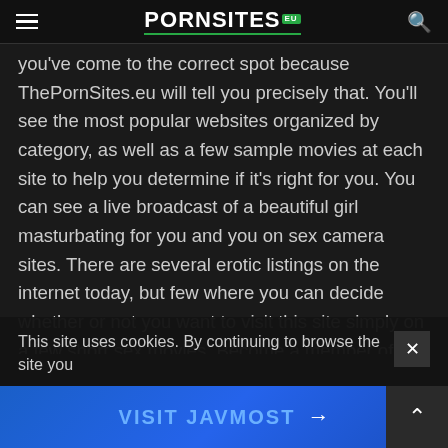PORNSITES.EU
you've come to the correct spot because ThePornSites.eu will tell you precisely that. You'll see the most popular websites organized by category, as well as a few sample movies at each site to help you determine if it's right for you. You can see a live broadcast of a beautiful girl masturbating for you and you on sex camera sites. There are several erotic listings on the internet today, but few where you can decide whether or not you want to visit this site simply on a few short sex movies. Become a member of the ThePornSites.eu community today! Premium users are attracted to premium quality :). We enjoy great porn, whether it's premium, homemade, live sex camera, or dating sites, here at ThePornSites.eu. Illegal porn, underage porn, violent porn, and other types of sex sites are not tolerated by us, thus you won't find them on ThePornSites.eu. Now that you're aware of all the options to actually visit websites of famous webmaster and would accept your site to be listed on Porn Sites, please find you
This site uses cookies. By continuing to browse the site you
VISIT JAVMOST →